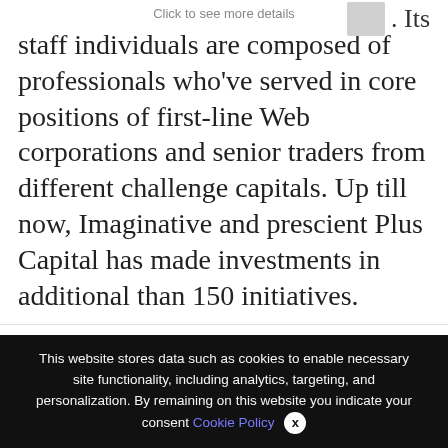Click to see more details
. Its staff individuals are composed of professionals who’ve served in core positions of first-line Web corporations and senior traders from different challenge capitals. Up till now, Imaginative and prescient Plus Capital has made investments in additional than 150 initiatives.
We use cookies on our website to give you the most relevant experience by remembering your preferences and repeat visits. By clicking “Accept All”, you consent to the use of ALL the controlled consent.
This website stores data such as cookies to enable necessary site functionality, including analytics, targeting, and personalization. By remaining on this website you indicate your consent Cookie Policy